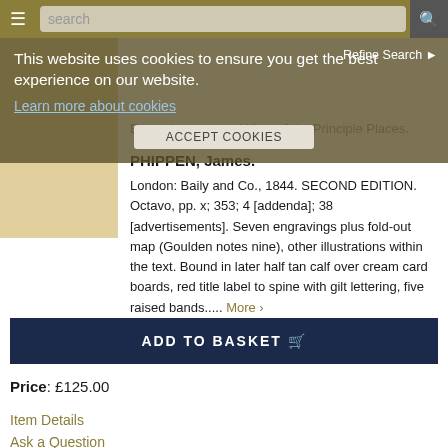search | Refine Search
This website uses cookies to ensure you get the best experience on our website. Learn more about cookies. ACCEPT COOKIES
[Figure (photo): Partial view of a book cover in tan/gold color]
Engravings, etc., of Most of the Principle Places. PHIPPEN, James. London: Baily and Co., 1844. SECOND EDITION. Octavo, pp. x; 353; 4 [addenda]; 38 [advertisements]. Seven engravings plus fold-out map (Goulden notes nine), other illustrations within the text. Bound in later half tan calf over cream card boards, red title label to spine with gilt lettering, five raised bands..... More >
ADD TO BASKET
Price: £125.00
Item Details
Ask a Question